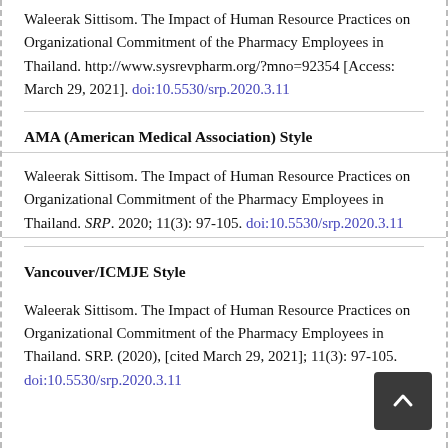Waleerak Sittisom. The Impact of Human Resource Practices on Organizational Commitment of the Pharmacy Employees in Thailand. http://www.sysrevpharm.org/?mno=92354 [Access: March 29, 2021]. doi:10.5530/srp.2020.3.11
AMA (American Medical Association) Style
Waleerak Sittisom. The Impact of Human Resource Practices on Organizational Commitment of the Pharmacy Employees in Thailand. SRP. 2020; 11(3): 97-105. doi:10.5530/srp.2020.3.11
Vancouver/ICMJE Style
Waleerak Sittisom. The Impact of Human Resource Practices on Organizational Commitment of the Pharmacy Employees in Thailand. SRP. (2020), [cited March 29, 2021]; 11(3): 97-105. doi:10.5530/srp.2020.3.11